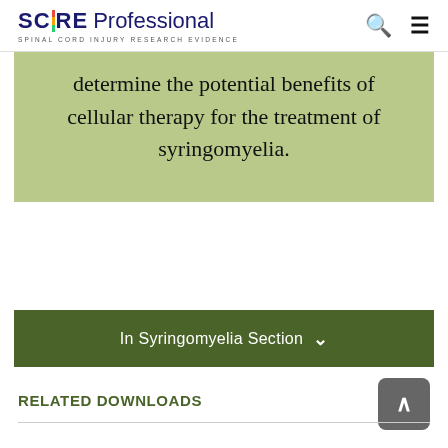SCIRE Professional — SPINAL CORD INJURY RESEARCH EVIDENCE
determine the potential benefits of cellular therapy for the treatment of syringomyelia.
In Syringomyelia Section
Related Downloads